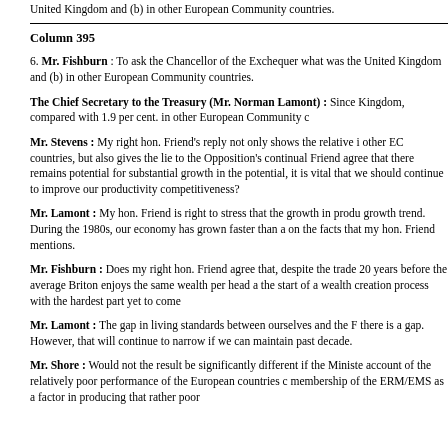United Kingdom and (b) in other European Community countries.
Column 395
6. Mr. Fishburn : To ask the Chancellor of the Exchequer what was the United Kingdom and (b) in other European Community countries.
The Chief Secretary to the Treasury (Mr. Norman Lamont) : Since Kingdom, compared with 1.9 per cent. in other European Community c
Mr. Stevens : My right hon. Friend's reply not only shows the relative i other EC countries, but also gives the lie to the Opposition's continual Friend agree that there remains potential for substantial growth in the potential, it is vital that we should continue to improve our productivity competitiveness?
Mr. Lamont : My hon. Friend is right to stress that the growth in produ growth trend. During the 1980s, our economy has grown faster than a on the facts that my hon. Friend mentions.
Mr. Fishburn : Does my right hon. Friend agree that, despite the trade 20 years before the average Briton enjoys the same wealth per head a the start of a wealth creation process with the hardest part yet to come
Mr. Lamont : The gap in living standards between ourselves and the F there is a gap. However, that will continue to narrow if we can maintain past decade.
Mr. Shore : Would not the result be significantly different if the Ministe account of the relatively poor performance of the European countries c membership of the ERM/EMS as a factor in producing that rather poor